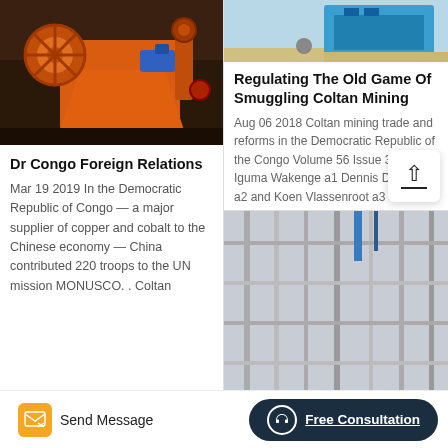[Figure (photo): Orange industrial mining/washing machine equipment against a dark background]
Dr Congo Foreign Relations
Mar 19 2019 In the Democratic Republic of Congo — a major supplier of copper and cobalt to the Chinese economy — China contributed 220 troops to the UN mission MONUSCO. . Coltan
[Figure (photo): Blue industrial equipment, partially cropped at top of right column]
Regulating The Old Game Of Smuggling Coltan Mining
Aug 06 2018 Coltan mining trade and reforms in the Democratic Republic of the Congo Volume 56 Issue 3 Claude Iguma Wakenge a1 Dennis Dijkzeul a2 and Koen Vlassenroot a3
[Figure (photo): Industrial scaffolding or factory interior, partially visible]
Send Message
Free Consultation